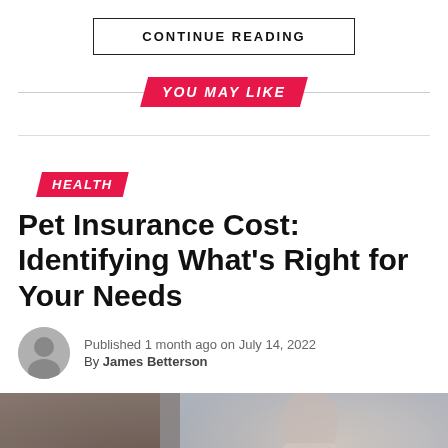CONTINUE READING
YOU MAY LIKE
HEALTH
Pet Insurance Cost: Identifying What's Right for Your Needs
Published 1 month ago on July 14, 2022
By James Betterson
[Figure (photo): Blurred background photo of a woman sitting at a laptop]